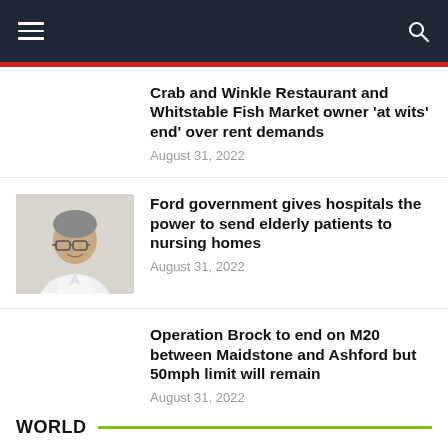Navigation bar with hamburger menu and search icon
Crab and Winkle Restaurant and Whitstable Fish Market owner ‘at wits’ end’ over rent demands
August 31, 2022
Ford government gives hospitals the power to send elderly patients to nursing homes
August 31, 2022
Operation Brock to end on M20 between Maidstone and Ashford but 50mph limit will remain
August 31, 2022
WORLD